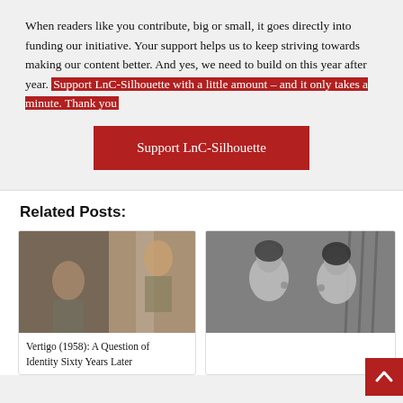When readers like you contribute, big or small, it goes directly into funding our initiative. Your support helps us to keep striving towards making our content better. And yes, we need to build on this year after year. Support LnC-Silhouette with a little amount – and it only takes a minute. Thank you
[Figure (other): Red button labeled 'Support LnC-Silhouette']
Related Posts:
[Figure (photo): Movie still from Vertigo (1958)]
Vertigo (1958): A Question of Identity Sixty Years Later
[Figure (photo): Black and white photo of two women from an Indian film]